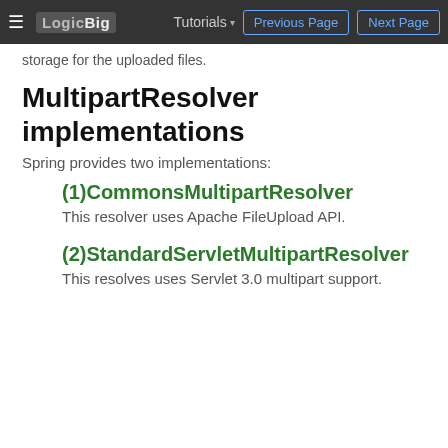LogicBig | Tutorials | Previous Page | Next Page
storage for the uploaded files.
MultipartResolver implementations
Spring provides two implementations:
(1)CommonsMultipartResolver
This resolver uses Apache FileUpload API.
(2)StandardServletMultipartResolver
This resolves uses Servlet 3.0 multipart support.